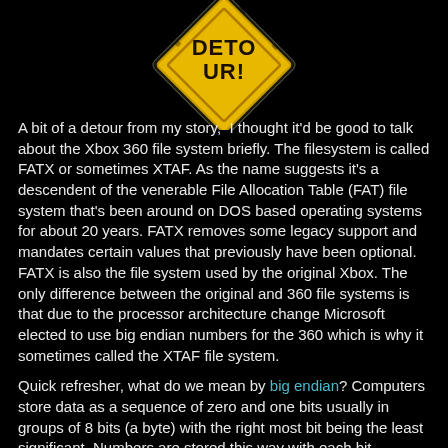[Figure (illustration): A yellow diamond-shaped warning/detour road sign with partially visible text 'DETO...' or similar, on a black background. The sign has a distressed/grunge look with a yellow border.]
A bit of a detour from my story,  I thought it'd be good to talk about the Xbox 360 file system briefly. The filesystem is called FATX or sometimes XTAF. As the name suggests it's a descendent of the venerable File Allocation Table (FAT) file system that's been around on DOS based operating systems for about 20 years. FATX removes some legacy support and mandates certain values that previously have been optional. FATX is also the file system used by the original Xbox. The only difference between the original and 360 file systems is that due to the processor architecture change Microsoft elected to use big endian numbers for the 360 which is why it sometimes called the XTAF file system.
Quick refresher, what do we mean by big endian? Computers store data as a sequence of zero and one bits usually in groups of 8 bits (a byte) with the right most bit being the least significant. Numbers are stored this way with each bit representing a power of 2. For example